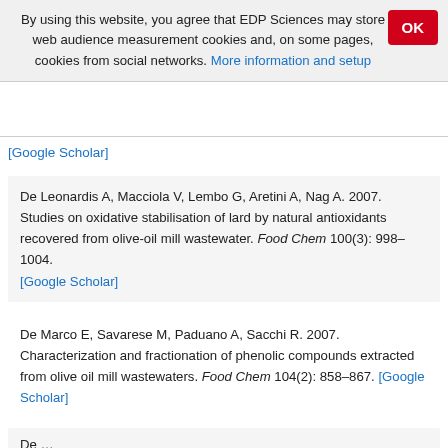By using this website, you agree that EDP Sciences may store web audience measurement cookies and, on some pages, cookies from social networks. More information and setup
[Google Scholar]
De Leonardis A, Macciola V, Lembo G, Aretini A, Nag A. 2007. Studies on oxidative stabilisation of lard by natural antioxidants recovered from olive-oil mill wastewater. Food Chem 100(3): 998–1004. [Google Scholar]
De Marco E, Savarese M, Paduano A, Sacchi R. 2007. Characterization and fractionation of phenolic compounds extracted from olive oil mill wastewaters. Food Chem 104(2): 858–867. [Google Scholar]
De Leonardis A, Macciola V, Lembo G, ...